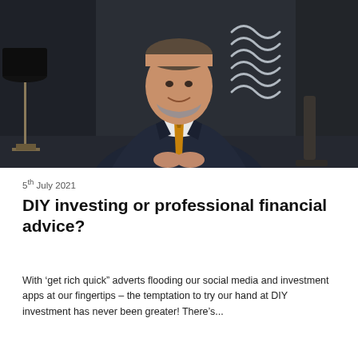[Figure (photo): Professional man in a dark navy suit with an orange/gold tie, standing with hands clasped, smiling, against a dark background with a wavy logo on the wall and a lamp visible to the left.]
5th July 2021
DIY investing or professional financial advice?
With ‘get rich quick” adverts flooding our social media and investment apps at our fingertips – the temptation to try our hand at DIY investment has never been greater! There’s...